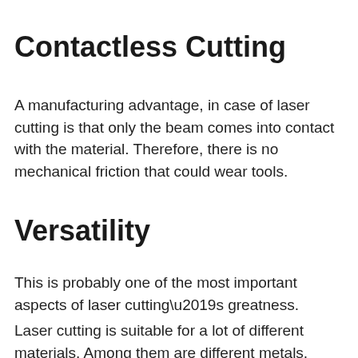Contactless Cutting
A manufacturing advantage, in case of laser cutting is that only the beam comes into contact with the material. Therefore, there is no mechanical friction that could wear tools.
Versatility
This is probably one of the most important aspects of laser cutting’s greatness.
Laser cutting is suitable for a lot of different materials. Among them are different metals, acrylic,